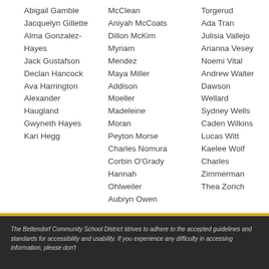Abigail Gamble
Jacquelyn Gillette
Alma Gonzalez-Hayes
Jack Gustafson
Declan Hancock
Ava Harrington
Alexander Haugland
Gwyneth Hayes
Kari Hegg
McClean
Aniyah McCoats
Dillon McKim
Myriam Mendez
Maya Miller
Addison Moeller
Madeleine Moran
Peyton Morse
Charles Nomura
Corbin O'Grady
Hannah Ohlweiler
Aubryn Owen
Torgerud
Ada Tran
Julisia Vallejo
Arianna Vesey
Noemi Vital
Andrew Walter
Dawson Wellard
Sydney Wells
Caden Wilkins
Lucas Witt
Kaelee Wolf
Charles Zimmerman
Thea Zorich
The Bettendorf Community School District strives to adhere to the accepted guidelines and standards for accessibility and usability. If you experience any difficulty in accessing information, please don't